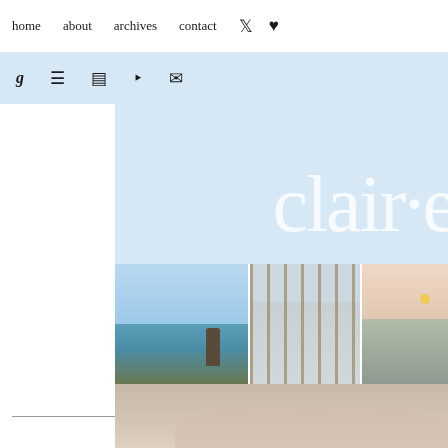home  about  archives  contact  [twitter] [heart]
g  [pinterest]  [instagram]  [rss]  [email]
clair·e
[Figure (photo): Three travel photos side by side: a beach/ocean scene with a rock formation, a city view through glass railings, and a coastal sunset scene]
racism, the goldfinch, & li
12.14.2020
[Figure (photo): Close-up of a person's face/chin area]